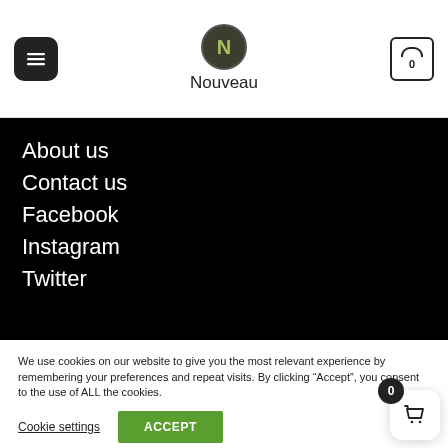[Figure (screenshot): Website header with hamburger menu button on left, Nouveau logo in center (N in dark circle), and shopping cart icon with 0 on right]
About us
Contact us
Facebook
Instagram
Twitter
We use cookies on our website to give you the most relevant experience by remembering your preferences and repeat visits. By clicking “Accept”, you consent to the use of ALL the cookies.
Cookie settings
ACCEPT